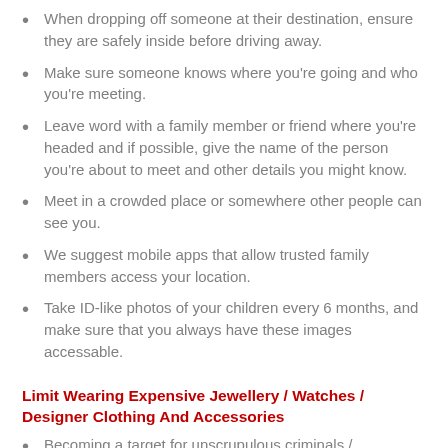When dropping off someone at their destination, ensure they are safely inside before driving away.
Make sure someone knows where you're going and who you're meeting.
Leave word with a family member or friend where you're headed and if possible, give the name of the person you're about to meet and other details you might know.
Meet in a crowded place or somewhere other people can see you.
We suggest mobile apps that allow trusted family members access your location.
Take ID-like photos of your children every 6 months, and make sure that you always have these images accessable.
Limit Wearing Expensive Jewellery / Watches / Designer Clothing And Accessories
Becoming a target for unscrupulous criminals / kidnappers is easier than you might think. Criminals watch your every move, what you are wearing, which cars you are driving and also